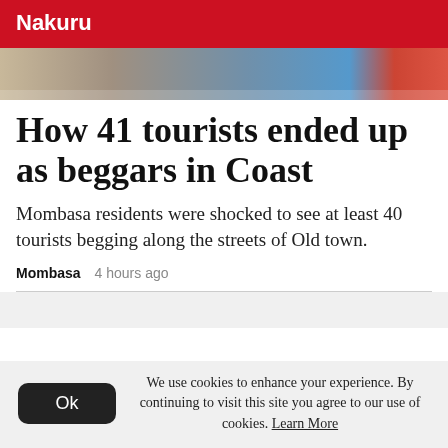Nakuru
[Figure (photo): Partial photo strip showing tourists, cropped at top of the article]
How 41 tourists ended up as beggars in Coast
Mombasa residents were shocked to see at least 40 tourists begging along the streets of Old town.
Mombasa   4 hours ago
We use cookies to enhance your experience. By continuing to visit this site you agree to our use of cookies. Learn More